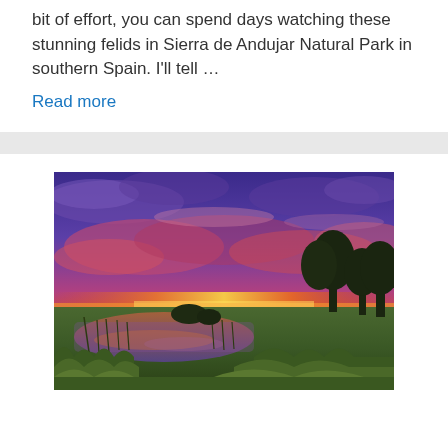bit of effort, you can spend days watching these stunning felids in Sierra de Andujar Natural Park in southern Spain. I'll tell … Read more
[Figure (photo): Vibrant HDR sunset photograph over a marsh or wetland area with green grass, a small pond reflecting orange and pink hues, silhouetted trees on the right, and a dramatic sky with purple, blue, and fiery orange-red clouds near the horizon.]